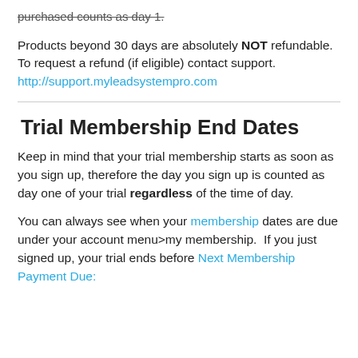purchased counts as day 1.
Products beyond 30 days are absolutely NOT refundable.   To request a refund (if eligible) contact support. http://support.myleadsystempro.com
Trial Membership End Dates
Keep in mind that your trial membership starts as soon as you sign up, therefore the day you sign up is counted as day one of your trial regardless of the time of day.
You can always see when your membership dates are due under your account menu>my membership.  If you just signed up, your trial ends before Next Membership Payment Due: